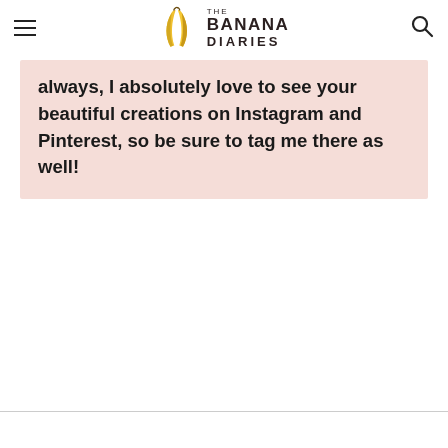THE BANANA DIARIES
always, I absolutely love to see your beautiful creations on Instagram and Pinterest, so be sure to tag me there as well!